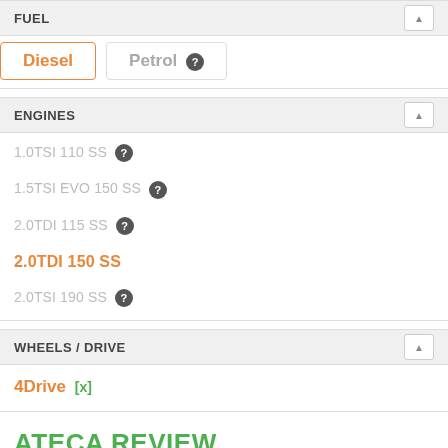FUEL
Diesel (active), Petrol
ENGINES
1.0TSI 110 SS
1.5TSI EVO 150 SS
2.0TDI 115 SS
2.0TDI 150 SS (active/selected)
2.0TSI 190 SS
WHEELS / DRIVE
4Drive [x]
ATECA REVIEW